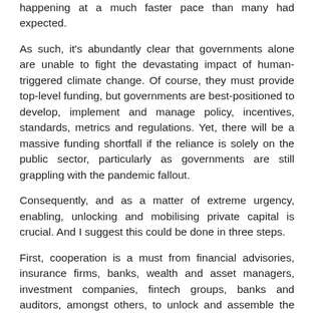happening at a much faster pace than many had expected.
As such, it's abundantly clear that governments alone are unable to fight the devastating impact of human-triggered climate change. Of course, they must provide top-level funding, but governments are best-positioned to develop, implement and manage policy, incentives, standards, metrics and regulations. Yet, there will be a massive funding shortfall if the reliance is solely on the public sector, particularly as governments are still grappling with the pandemic fallout.
Consequently, and as a matter of extreme urgency, enabling, unlocking and mobilising private capital is crucial. And I suggest this could be done in three steps.
First, cooperation is a must from financial advisories, insurance firms, banks, wealth and asset managers, investment companies, fintech groups, banks and auditors, amongst others, to unlock and assemble the trillions of dollars of